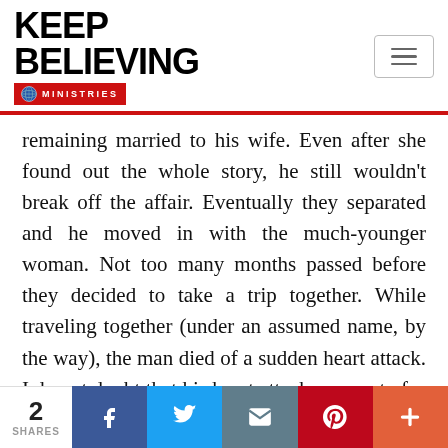KEEP BELIEVING MINISTRIES
remaining married to his wife. Even after she found out the whole story, he still wouldn't break off the affair. Eventually they separated and he moved in with the much-younger woman. Not too many months passed before they decided to take a trip together. While traveling together (under an assumed name, by the way), the man died of a sudden heart attack. I do not doubt that his heart attack was part of
2 SHARES | Facebook | Twitter | Email | Pinterest | More